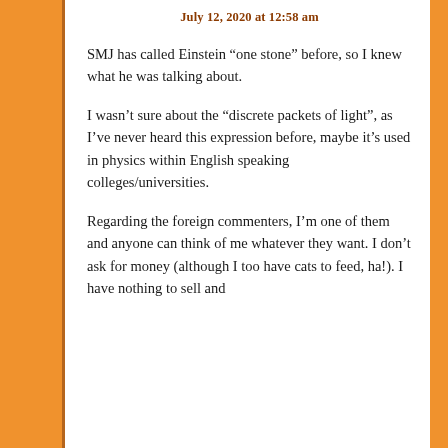July 12, 2020 at 12:58 am
SMJ has called Einstein “one stone” before, so I knew what he was talking about.
I wasn’t sure about the “discrete packets of light”, as I’ve never heard this expression before, maybe it’s used in physics within English speaking colleges/universities.
Regarding the foreign commenters, I’m one of them and anyone can think of me whatever they want. I don’t ask for money (although I too have cats to feed, ha!). I have nothing to sell and